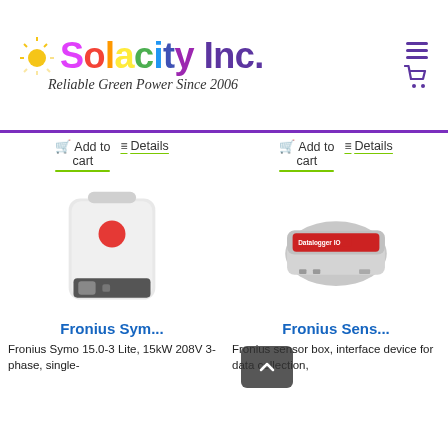[Figure (logo): Solacity Inc. logo with colorful letters, sun graphic, and tagline 'Reliable Green Power Since 2006']
Add to cart   Details   Add to cart   Details
[Figure (photo): Fronius Symo solar inverter, white box-shaped device with red Fronius logo]
[Figure (photo): Fronius Sensor Box, small grey device with red label]
Fronius Sym...
Fronius Sens...
Fronius Symo 15.0-3 Lite, 15kW 208V 3-phase, single-
Fronius sensor box, interface device for data collection,